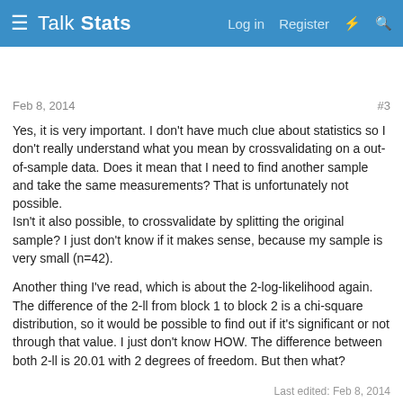Talk Stats — Log in  Register
New Member
Feb 8, 2014   #3
Yes, it is very important. I don't have much clue about statistics so I don't really understand what you mean by crossvalidating on a out-of-sample data. Does it mean that I need to find another sample and take the same measurements? That is unfortunately not possible.
Isn't it also possible, to crossvalidate by splitting the original sample? I just don't know if it makes sense, because my sample is very small (n=42).
Another thing I've read, which is about the 2-log-likelihood again. The difference of the 2-ll from block 1 to block 2 is a chi-square distribution, so it would be possible to find out if it's significant or not through that value. I just don't know HOW. The difference between both 2-ll is 20.01 with 2 degrees of freedom. But then what?
Last edited: Feb 8, 2014